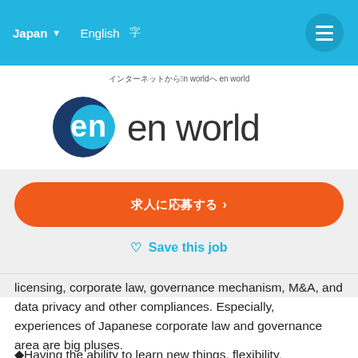Japan  English  [JP icon]
[Figure (logo): en world logo with blue circle containing 'en' text and 'en world' wordmark in dark grey]
[Japanese breadcrumb text] en world
[Japanese CTA button text] >
Save this job
licensing, corporate law, governance mechanism, M&A, and data privacy and other compliances. Especially, experiences of Japanese corporate law and governance area are big pluses.
◆Having the ability to learn new things, flexibility,